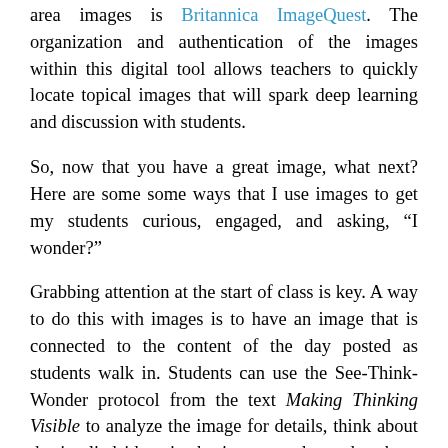area images is Britannica ImageQuest. The organization and authentication of the images within this digital tool allows teachers to quickly locate topical images that will spark deep learning and discussion with students.
So, now that you have a great image, what next? Here are some some ways that I use images to get my students curious, engaged, and asking, “I wonder?”
Grabbing attention at the start of class is key. A way to do this with images is to have an image that is connected to the content of the day posted as students walk in. Students can use the See-Think-Wonder protocol from the text Making Thinking Visible to analyze the image for details, think about the implied ideas in the image, and wonder about questions the image evokes. Through this simple process students have